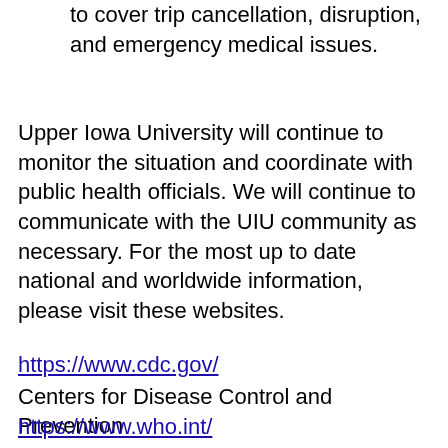to cover trip cancellation, disruption, and emergency medical issues.
Upper Iowa University will continue to monitor the situation and coordinate with public health officials. We will continue to communicate with the UIU community as necessary. For the most up to date national and worldwide information, please visit these websites.
https://www.cdc.gov/
Centers for Disease Control and Prevention
https://www.who.int/
World Health Organization